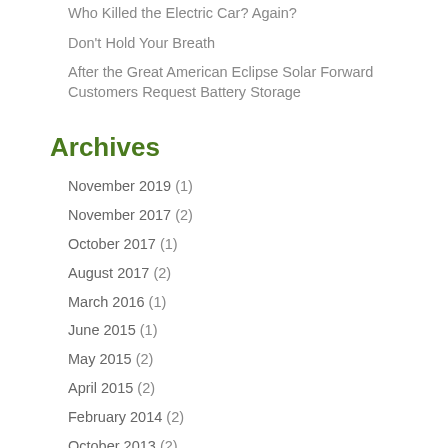Who Killed the Electric Car? Again?
Don't Hold Your Breath
After the Great American Eclipse Solar Forward Customers Request Battery Storage
Archives
November 2019 (1)
November 2017 (2)
October 2017 (1)
August 2017 (2)
March 2016 (1)
June 2015 (1)
May 2015 (2)
April 2015 (2)
February 2014 (2)
October 2013 (2)
August 2013 (1)